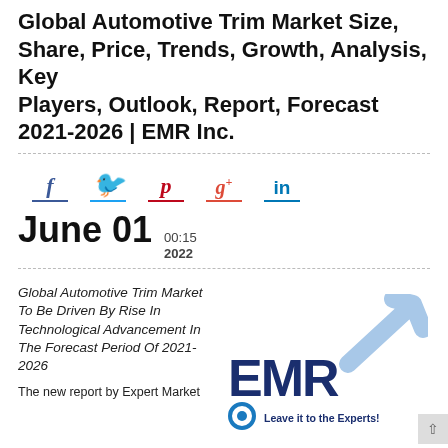Global Automotive Trim Market Size, Share, Price, Trends, Growth, Analysis, Key Players, Outlook, Report, Forecast 2021-2026 | EMR Inc.
[Figure (infographic): Social media share icons: Facebook (f), Twitter bird, Pinterest (p), Google+ (g+), LinkedIn (in), each with colored underlines]
June 01  00:15  2022
Global Automotive Trim Market To Be Driven By Rise In Technological Advancement In The Forecast Period Of 2021-2026
[Figure (logo): EMR (Expert Market Research) logo with dark blue EMR letters, light blue arrow pointing up-right, circle icon, and tagline 'Leave it to the Experts!']
The new report by Expert Market